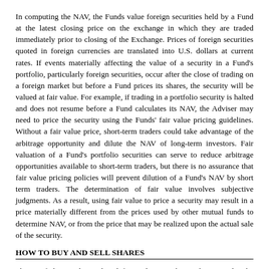In computing the NAV, the Funds value foreign securities held by a Fund at the latest closing price on the exchange in which they are traded immediately prior to closing of the Exchange. Prices of foreign securities quoted in foreign currencies are translated into U.S. dollars at current rates. If events materially affecting the value of a security in a Fund's portfolio, particularly foreign securities, occur after the close of trading on a foreign market but before a Fund prices its shares, the security will be valued at fair value. For example, if trading in a portfolio security is halted and does not resume before a Fund calculates its NAV, the Adviser may need to price the security using the Funds' fair value pricing guidelines. Without a fair value price, short-term traders could take advantage of the arbitrage opportunity and dilute the NAV of long-term investors. Fair valuation of a Fund's portfolio securities can serve to reduce arbitrage opportunities available to short-term traders, but there is no assurance that fair value pricing policies will prevent dilution of a Fund's NAV by short term traders. The determination of fair value involves subjective judgments. As a result, using fair value to price a security may result in a price materially different from the prices used by other mutual funds to determine NAV, or from the price that may be realized upon the actual sale of the security.
HOW TO BUY AND SELL SHARES
Shares of the Funds are listed for trading on the Exchange under the symbols RFDI and RTAI. Share prices are reported in dollars and cents per Share. Shares can be bought and sold on the secondary market throughout the trading day like other publicly traded shares, and Shares typically trade in blocks of less than a Creation Unit. There is no minimum investment required. Shares may only be purchased and sold on the secondary market when the Exchange is open for